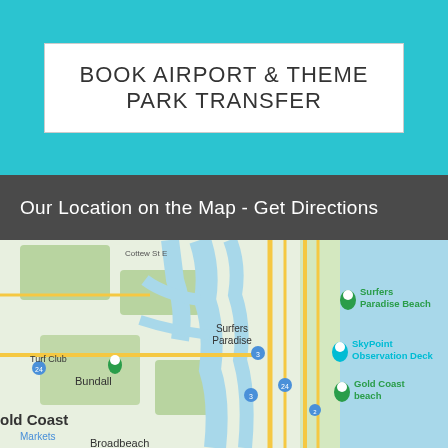BOOK AIRPORT & THEME PARK TRANSFER
Our Location on the Map - Get Directions
[Figure (map): Google Maps view of Surfers Paradise / Gold Coast area showing waterways, streets, Surfers Paradise Beach, SkyPoint Observation Deck, Gold Coast beach markers, Bundall, Broadbeach, and Markets labels.]